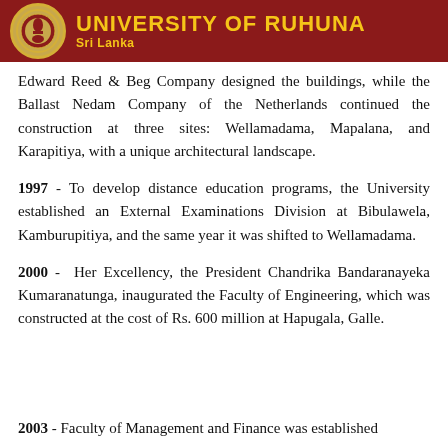UNIVERSITY OF RUHUNA | Sri Lanka
Edward Reed & Beg Company designed the buildings, while the Ballast Nedam Company of the Netherlands continued the construction at three sites: Wellamadama, Mapalana, and Karapitiya, with a unique architectural landscape.
1997 - To develop distance education programs, the University established an External Examinations Division at Bibulawela, Kamburupitiya, and the same year it was shifted to Wellamadama.
2000 - Her Excellency, the President Chandrika Bandaranayeka Kumaranatunga, inaugurated the Faculty of Engineering, which was constructed at the cost of Rs. 600 million at Hapugala, Galle.
2003 - Faculty of Management and Finance was established